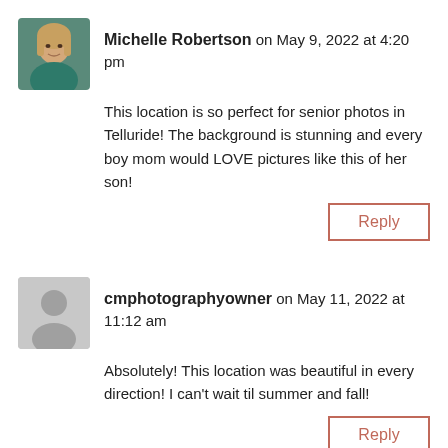[Figure (photo): Profile photo of Michelle Robertson, a woman with shoulder-length blonde hair wearing teal clothing]
Michelle Robertson on May 9, 2022 at 4:20 pm
This location is so perfect for senior photos in Telluride! The background is stunning and every boy mom would LOVE pictures like this of her son!
Reply
[Figure (illustration): Generic gray user avatar silhouette placeholder]
cmphotographyowner on May 11, 2022 at 11:12 am
Absolutely! This location was beautiful in every direction! I can't wait til summer and fall!
Reply